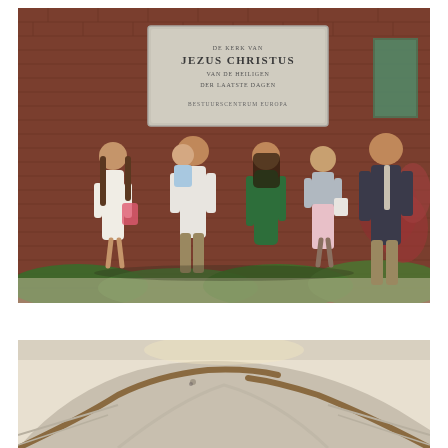[Figure (photo): Group of five adults and one toddler standing in front of a red brick building with a large stone plaque reading 'DE KERK VAN JEZUS CHRISTUS VAN DE HEILIGEN DER LAATSTE DAGEN'. The people are smiling; one woman wears a white dress with a pink bag, one man holds a small child dressed in blue, another man wears a white shirt with khaki pants, a woman in a green dress, a woman in a pink skirt and gray jacket, and a man in a dark jacket and tie. Red-leafed shrubs visible on the right.]
[Figure (photo): Interior architectural shot showing a curved staircase with wooden handrails, cream-colored walls with a small decorative element visible, and warm lighting.]